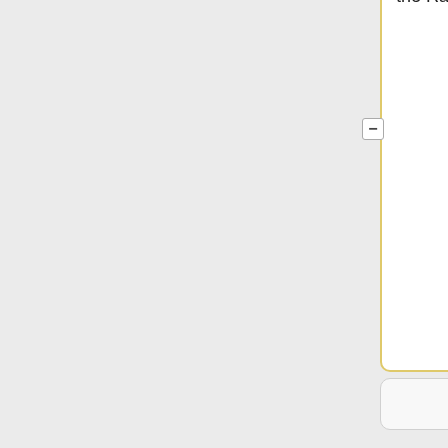and a Mega2560 Arduino. The Raspberry Pi will send a word to the Arduino. The Arduino will implement a Atbash Cipher on the word, then send it back to the Raspberry Pi.
and a Mega2560 Arduino. The Raspberry Pi will send a word to the Arduino. The Arduino will implement a Ceaser Cipher on the word, then send it back to the Raspberry Pi.
# Retrieve Seattle, Washington's current weather from weather.com using a Raspberry Pi. The Raspberry
# Retrieve Seattle, Washington's current weather from weather.com using a Raspberry Pi. The Raspberry